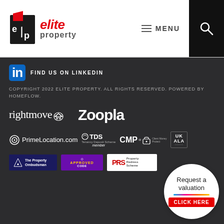[Figure (logo): Elite Property logo with 'ep' icon and colored text]
MENU
[Figure (logo): LinkedIn icon with text FIND US ON LINKEDIN]
COPYRIGHT 2022 ELITE PROPERTY. ALL RIGHTS RESERVED. POWERED BY HOMEFLOW.
[Figure (logo): Rightmove logo]
[Figure (logo): Zoopla logo]
[Figure (logo): PrimeLocation.com logo]
[Figure (logo): TDS Tenancy Deposit Scheme member badge]
[Figure (logo): CMP Client Money Protect badge]
[Figure (logo): UK ALA badge]
[Figure (logo): The Property Ombudsman badge]
[Figure (logo): Approved Code badge]
[Figure (logo): PRS Property Redress Scheme badge]
[Figure (illustration): Request a valuation button - circular white button with CLICK HERE red banner]